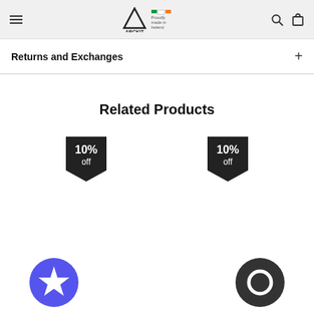ARCKIT — Proudly made in Ireland
Returns and Exchanges
Related Products
[Figure (infographic): Two product badge icons showing '10% off' discount badges in dark pentagon/shield shape, and two circular icon buttons — a purple star button and a dark chat/message button.]